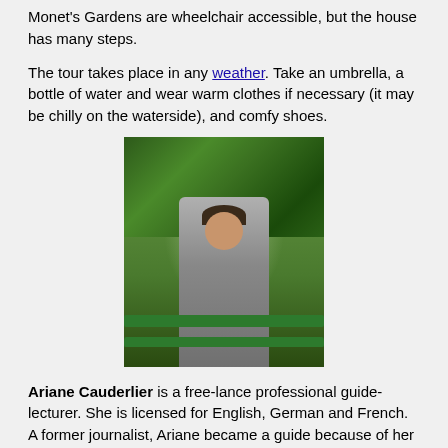Monet's Gardens are wheelchair accessible, but the house has many steps.
The tour takes place in any weather. Take an umbrella, a bottle of water and wear warm clothes if necessary (it may be chilly on the waterside), and comfy shoes.
[Figure (photo): A woman standing on a green bridge or railing at Monet's Gardens in Giverny, surrounded by lush green trees and vegetation. She is wearing a grey striped top and grey pants, with a dark hat.]
Ariane Cauderlier is a free-lance professional guide-lecturer. She is licensed for English, German and French.
A former journalist, Ariane became a guide because of her passion for Claude Monet. She specializes in Giverny where she comes daily, living nearby. She likes to share her